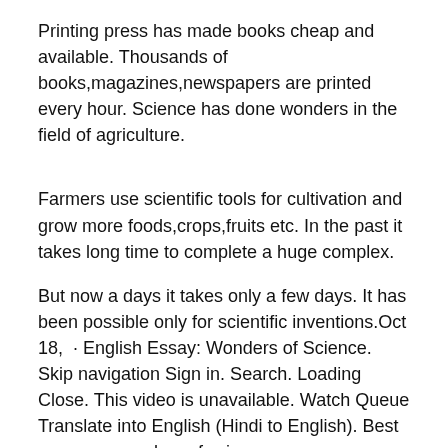Printing press has made books cheap and available. Thousands of books,magazines,newspapers are printed every hour. Science has done wonders in the field of agriculture.
Farmers use scientific tools for cultivation and grow more foods,crops,fruits etc. In the past it takes long time to complete a huge complex.
But now a days it takes only a few days. It has been possible only for scientific inventions.Oct 18,  · English Essay: Wonders of Science. Skip navigation Sign in. Search. Loading Close. This video is unavailable. Watch Queue Translate into English (Hindi to English). Best essay on wonders of science.
What is psychology essay greatness be myself essay about introduce yourself (essay about volunteers zebra in